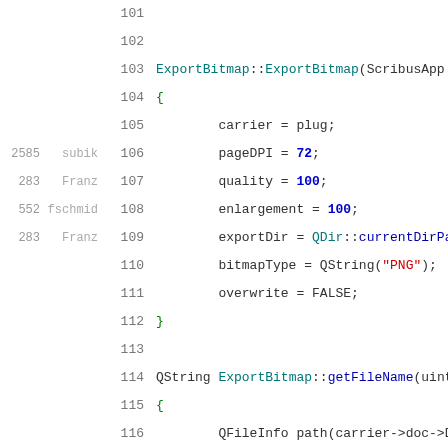Code listing: ExportBitmap constructor and getFileName method, lines 101-120
101  (blank)
102  (blank)
103  ExportBitmap::ExportBitmap(ScribusApp *
104  {
105          carrier = plug;
2585 subik 106          pageDPI = 72;
283  Franz 107          quality = 100;
552  fschmid 108          enlargement = 100;
283  Franz 109          exportDir = QDir::currentDirPat
110          bitmapType = QString("PNG");
111          overwrite = FALSE;
112  }
113  (blank)
114  QString ExportBitmap::getFileName(uint
115  {
116          QFileInfo path(carrier->doc->Do
287  Franz 117          QString name = path.baseName(); the "/home/user/blah.sla"
283  Franz 118          QString number;
293  Franz 119          number = number.setNum(pageNr + >FirstPnum);
120          return QDir::convertSeparators(